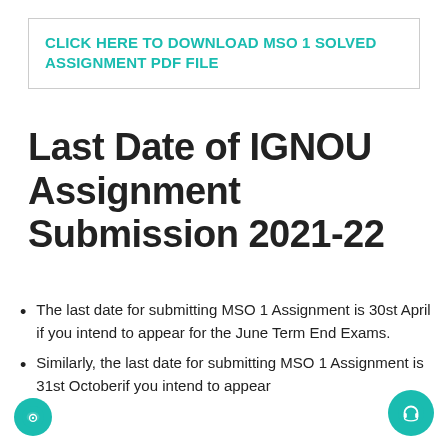CLICK HERE TO DOWNLOAD MSO 1 SOLVED ASSIGNMENT PDF FILE
Last Date of IGNOU Assignment Submission 2021-22
The last date for submitting MSO 1 Assignment is 30st April if you intend to appear for the June Term End Exams.
Similarly, the last date for submitting MSO 1 Assignment is 31st Octoberif you intend to appear